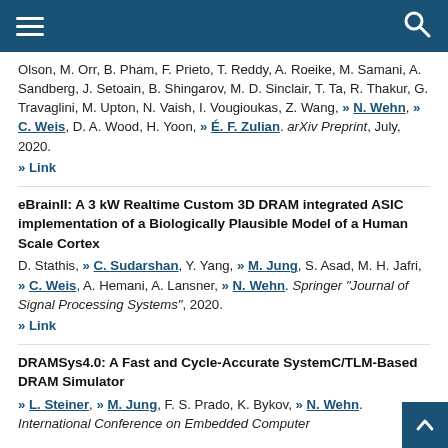Navigation header bar with menu and search icons
Olson, M. Orr, B. Pham, F. Prieto, T. Reddy, A. Roeike, M. Samani, A. Sandberg, J. Setoain, B. Shingarov, M. D. Sinclair, T. Ta, R. Thakur, G. Travaglini, M. Upton, N. Vaish, I. Vougioukas, Z. Wang, » N. Wehn, » C. Weis, D. A. Wood, H. Yoon, » É. F. Zulian. arXiv Preprint, July, 2020.
» Link
eBrainII: A 3 kW Realtime Custom 3D DRAM integrated ASIC implementation of a Biologically Plausible Model of a Human Scale Cortex
D. Stathis, » C. Sudarshan, Y. Yang, » M. Jung, S. Asad, M. H. Jafri, » C. Weis, A. Hemani, A. Lansner, » N. Wehn. Springer "Journal of Signal Processing Systems", 2020.
» Link
DRAMSys4.0: A Fast and Cycle-Accurate SystemC/TLM-Based DRAM Simulator
» L. Steiner, » M. Jung, F. S. Prado, K. Bykov, » N. Wehn. International Conference on Embedded Computer